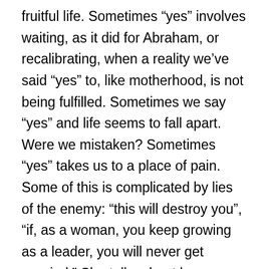fruitful life. Sometimes “yes” involves waiting, as it did for Abraham, or recalibrating, when a reality we’ve said “yes” to, like motherhood, is not being fulfilled. Sometimes we say “yes” and life seems to fall apart. Were we mistaken? Sometimes “yes” takes us to a place of pain. Some of this is complicated by lies of the enemy: “this will destroy you”, “if, as a woman, you keep growing as a leader, you will never get married.” She talks about how we sometimes say “no” without exploring the possibility of yes and sometimes have a “no” concealed in our “yes.” I did find myself wondering in this chapter about discerning when God is inviting us to say “no” in